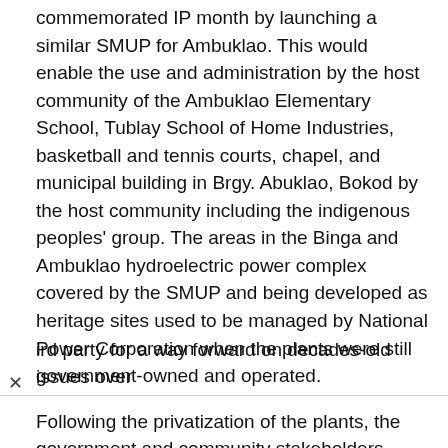commemorated IP month by launching a similar SMUP for Ambuklao. This would enable the use and administration by the host community of the Ambuklao Elementary School, Tublay School of Home Industries, basketball and tennis courts, chapel, and municipal building in Brgy. Abuklao, Bokod by the host community including the indigenous peoples' group. The areas in the Binga and Ambuklao hydroelectric power complex covered by the SMUP and being developed as heritage sites used to be managed by National Power Corporation when the plants were still government-owned and operated.
Following the privatization of the plants, the government and community stakeholders participated in a seven-month mediation process supported by SNAP and facilitated by a third party for a way forward on decades-old issues over